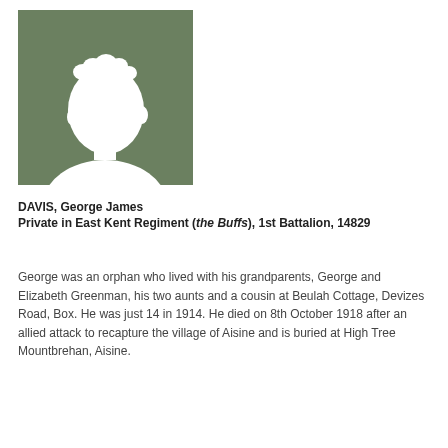[Figure (photo): Silhouette placeholder portrait image on sage green background, showing outline of a person's head and shoulders in white against the green.]
DAVIS, George James
Private in East Kent Regiment (the Buffs), 1st Battalion, 14829
George was an orphan who lived with his grandparents, George and Elizabeth Greenman, his two aunts and a cousin at Beulah Cottage, Devizes Road, Box. He was just 14 in 1914. He died on 8th October 1918 after an allied attack to recapture the village of Aisine and is buried at High Tree Mountbrehan, Aisine.